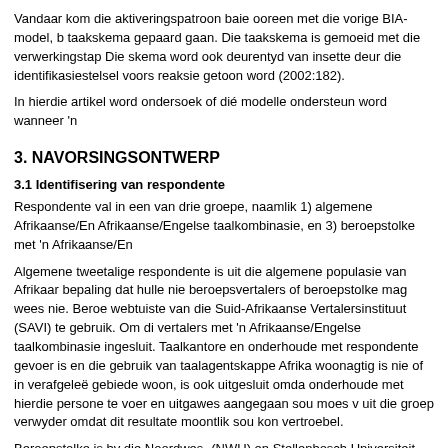Vandaar kom die aktiveringspatroon baie ooreen met die vorige BIA-model, b taakskema gepaard gaan. Die taakskema is gemoeid met die verwerkingstap Die skema word ook deurentyd van insette deur die identifikasiestelsel voors reaksie getoon word (2002:182).
In hierdie artikel word ondersoek of dié modelle ondersteun word wanneer 'n
3. NAVORSINGSONTWERP
3.1 Identifisering van respondente
Respondente val in een van drie groepe, naamlik 1) algemene Afrikaanse/En Afrikaanse/Engelse taalkombinasie, en 3) beroepstolke met 'n Afrikaanse/En
Algemene tweetalige respondente is uit die algemene populasie van Afrikaar bepaling dat hulle nie beroepsvertalers of beroepstolke mag wees nie. Beroe webtuiste van die Suid-Afrikaanse Vertalersinstituut (SAVI) te gebruik. Om di vertalers met 'n Afrikaanse/Engelse taalkombinasie ingesluit. Taalkantore en onderhoude met respondente gevoer is en die gebruik van taalagentskappe Afrika woonagtig is nie of in verafgeleë gebiede woon, is ook uitgesluit omda onderhoude met hierdie persone te voer en uitgawes aangegaan sou moes v uit die groep verwyder omdat dit resultate moontlik sou kon vertroebel.
Beroepstolke is by die Noordwes- (NWU) en Stellenbosch Universiteit (SU) g tolkrespondente wat ook vertaalwerk doen, van die studie uitgesluit.
Elk van die groepe het uit die volgende aantal respondente bestaan:
• Algemene tweetaliges: 24